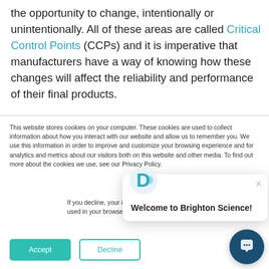the opportunity to change, intentionally or unintentionally. All of these areas are called Critical Control Points (CCPs) and it is imperative that manufacturers have a way of knowing how these changes will affect the reliability and performance of their final products.
This website stores cookies on your computer. These cookies are used to collect information about how you interact with our website and allow us to remember you. We use this information in order to improve and customize your browsing experience and for analytics and metrics about our visitors both on this website and other media. To find out more about the cookies we use, see our Privacy Policy.
If you decline, your i... when you visit this w... used in your browse... not to be tracked.
Welcome to Brighton Science!